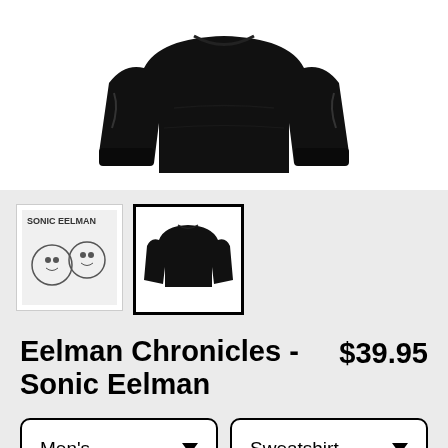[Figure (photo): Black crewneck sweatshirt product photo on white background]
[Figure (photo): Thumbnail 1: Sonic Eelman comic art design thumbnail]
[Figure (photo): Thumbnail 2: Black sweatshirt thumbnail (selected)]
Eelman Chronicles - Sonic Eelman
$39.95
Men's
Sweatshirt
SELECT YOUR FIT
$39.95
French Terry